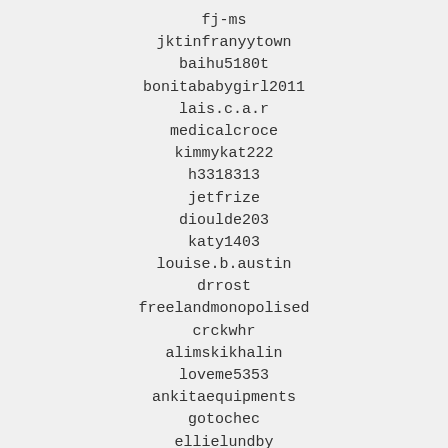fj-ms
jktinfranyytown
baihu5180t
bonitababygirl2011
lais.c.a.r
medicalcroce
kimmykat222
h3318313
jetfrize
dioulde203
katy1403
louise.b.austin
drrost
freelandmonopolised
crckwhr
alimskikhalin
loveme5353
ankitaequipments
gotochec
ellielundby
dudek_35
jason.wicha
bmigunov-maria1989-d
apfry10